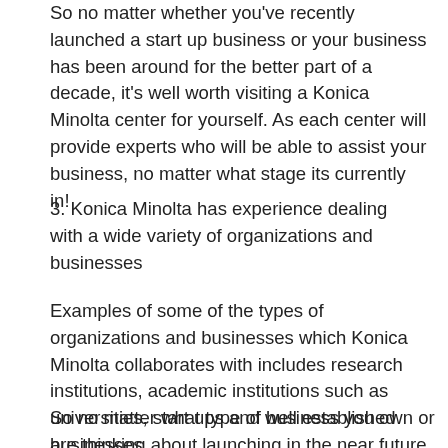So no matter whether you've recently launched a start up business or your business has been around for the better part of a decade, it's well worth visiting a Konica Minolta center for yourself. As each center will provide experts who will be able to assist your business, no matter what stage its currently in!
3. Konica Minolta has experience dealing with a wide variety of organizations and businesses
Examples of some of the types of organizations and businesses which Konica Minolta collaborates with includes research institutions, academic institutions such as universities, start ups and well established businesses.
So no matter what type of business you own or are thinking about launching in the near future, it's